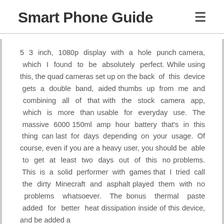Smart Phone Guide
5 3 inch, 1080p display with a hole punch camera, which I found to be absolutely perfect. While using this, the quad cameras set up on the back of this device gets a double band, aided thumbs up from me and combining all of that with the stock camera app, which is more than usable for everyday use. The massive 6000 150ml amp hour battery that’s in this thing can last for days depending on your usage. Of course, even if you are a heavy user, you should be able to get at least two days out of this no problems. This is a solid performer with games that I tried call the dirty Minecraft and asphalt played them with no problems whatsoever. The bonus thermal paste added for better heat dissipation inside of this device, and be added a